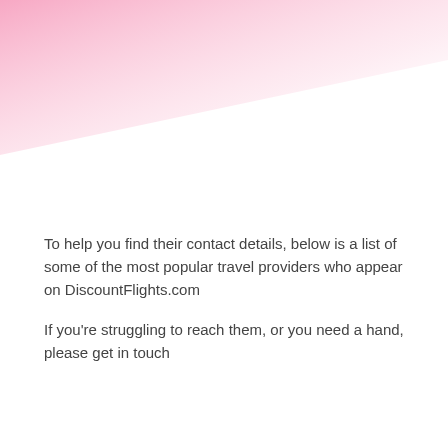[Figure (illustration): Decorative diagonal pink-to-white gradient band across the top of the page]
To help you find their contact details, below is a list of some of the most popular travel providers who appear on DiscountFlights.com
If you're struggling to reach them, or you need a hand, please get in touch